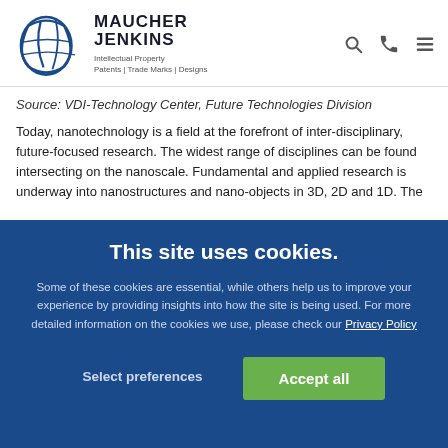Maucher Jenkins — Intellectual Property Patents | Trade Marks | Designs
Source: VDI-Technology Center, Future Technologies Division
Today, nanotechnology is a field at the forefront of inter-disciplinary, future-focused research. The widest range of disciplines can be found intersecting on the nanoscale. Fundamental and applied research is underway into nanostructures and nano-objects in 3D, 2D and 1D. The
This site uses cookies.
Some of these cookies are essential, while others help us to improve your experience by providing insights into how the site is being used. For more detailed information on the cookies we use, please check our Privacy Policy
Select preferences
Accept all